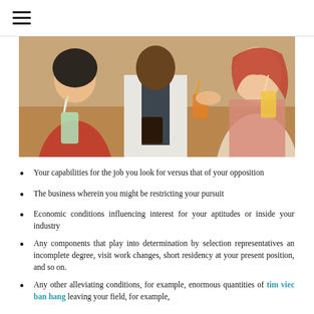≡
[Figure (photo): People sitting at a bar or restaurant table, holding drinks. A bartender or server in a white shirt and dark vest is visible in the center handing a drink to a customer.]
Your capabilities for the job you look for versus that of your opposition
The business wherein you might be restricting your pursuit
Economic conditions influencing interest for your aptitudes or inside your industry
Any components that play into determination by selection representatives an incomplete degree, visit work changes, short residency at your present position, and so on.
Any other alleviating conditions, for example, enormous quantities of tim viec ban hang leaving your field, for example,